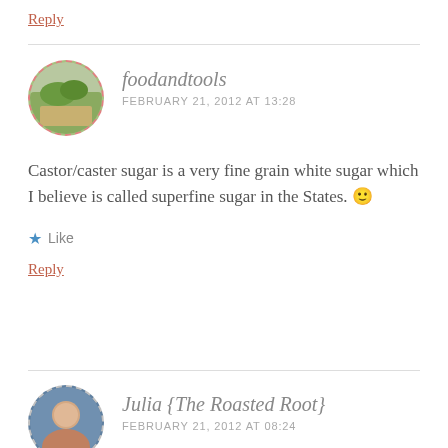Reply
foodandtools
FEBRUARY 21, 2012 AT 13:28
Castor/caster sugar is a very fine grain white sugar which I believe is called superfine sugar in the States. 🙂
★ Like
Reply
Julia {The Roasted Root}
FEBRUARY 21, 2012 AT 08:24